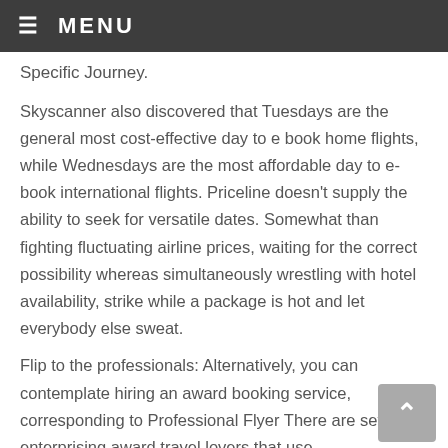≡ MENU
Specific Journey.
Skyscanner also discovered that Tuesdays are the general most cost-effective day to e book home flights, while Wednesdays are the most affordable day to e-book international flights. Priceline doesn't supply the ability to seek for versatile dates. Somewhat than fighting fluctuating airline prices, waiting for the correct possibility whereas simultaneously wrestling with hotel availability, strike while a package is hot and let everybody else sweat.
Flip to the professionals: Alternatively, you can contemplate hiring an award booking service, corresponding to Professional Flyer There are several enterprising award travel lovers that use